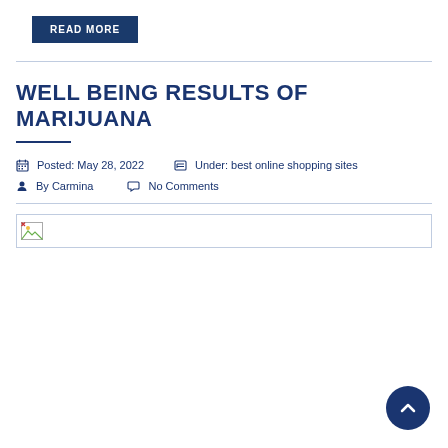READ MORE
WELL BEING RESULTS OF MARIJUANA
Posted: May 28, 2022   Under: best online shopping sites
By Carmina   No Comments
[Figure (other): Broken image placeholder icon]